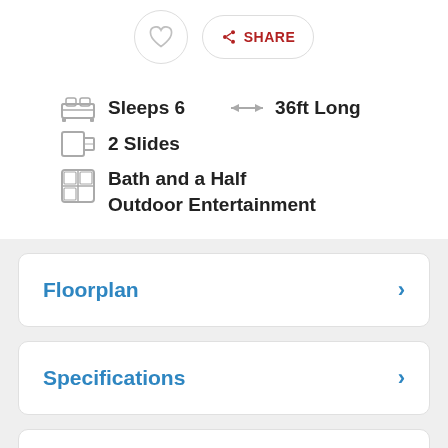Sleeps 6
36ft Long
2 Slides
Bath and a Half Outdoor Entertainment
Floorplan
Specifications
Description
Features